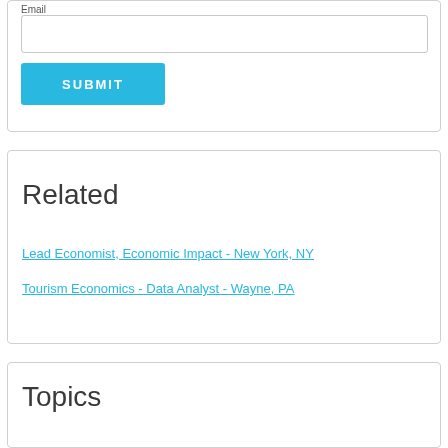Email
SUBMIT
Related
Lead Economist, Economic Impact - New York, NY
Tourism Economics - Data Analyst - Wayne, PA
Topics